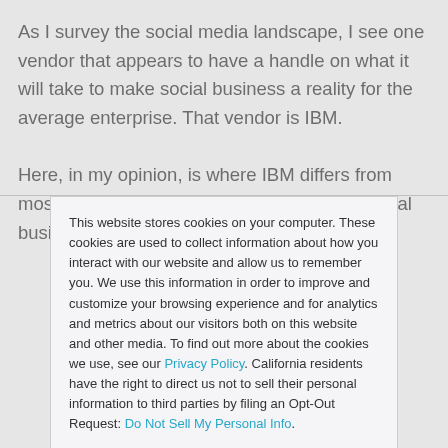As I survey the social media landscape, I see one vendor that appears to have a handle on what it will take to make social business a reality for the average enterprise. That vendor is IBM.

Here, in my opinion, is where IBM differs from most other vendors touting the promise of social business: IBM realizes
This website stores cookies on your computer. These cookies are used to collect information about how you interact with our website and allow us to remember you. We use this information in order to improve and customize your browsing experience and for analytics and metrics about our visitors both on this website and other media. To find out more about the cookies we use, see our Privacy Policy. California residents have the right to direct us not to sell their personal information to third parties by filing an Opt-Out Request: Do Not Sell My Personal Info.